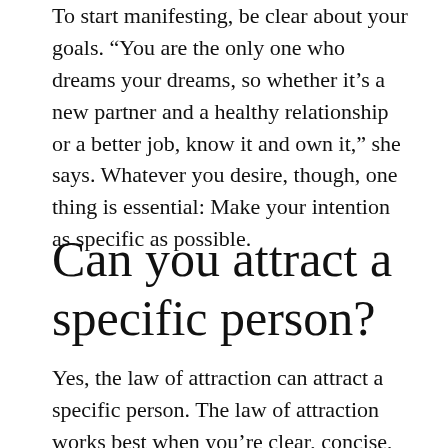To start manifesting, be clear about your goals. “You are the only one who dreams your dreams, so whether it’s a new partner and a healthy relationship or a better job, know it and own it,” she says. Whatever you desire, though, one thing is essential: Make your intention as specific as possible.
Can you attract a specific person?
Yes, the law of attraction can attract a specific person. The law of attraction works best when you’re clear, concise, and add as much detail as possible to your request. You need to focus on the